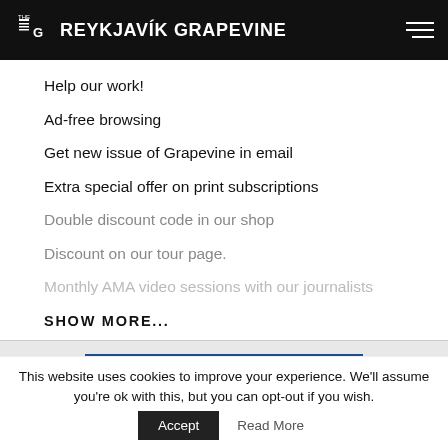THE G REYKJAVÍK GRAPEVINE
Help our work!
Ad-free browsing
Get new issue of Grapevine in email
Extra special offer on print subscriptions
Double discount code in our shop
Discount on our tour page.
Monthly AMA video sessions with our journalists
SHOW MORE...
TRY FREE FOR 30 DAYS
This website uses cookies to improve your experience. We'll assume you're ok with this, but you can opt-out if you wish.